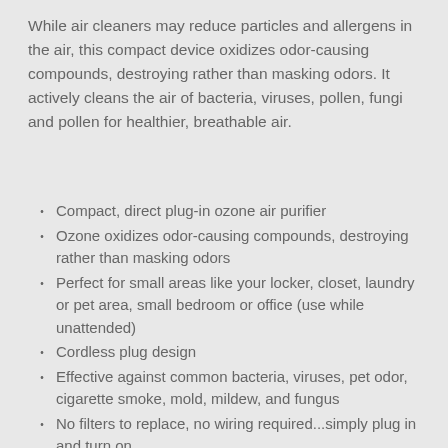While air cleaners may reduce particles and allergens in the air, this compact device oxidizes odor-causing compounds, destroying rather than masking odors. It actively cleans the air of bacteria, viruses, pollen, fungi and pollen for healthier, breathable air.
Compact, direct plug-in ozone air purifier
Ozone oxidizes odor-causing compounds, destroying rather than masking odors
Perfect for small areas like your locker, closet, laundry or pet area, small bedroom or office (use while unattended)
Cordless plug design
Effective against common bacteria, viruses, pet odor, cigarette smoke, mold, mildew, and fungus
No filters to replace, no wiring required...simply plug in and turn on
WARNING: This unit produces ozone and should be